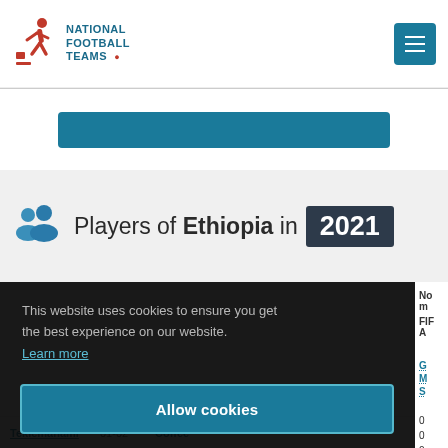NATIONAL FOOTBALL TEAMS
[Figure (screenshot): National Football Teams website screenshot showing Players of Ethiopia in 2021 page with a cookie consent overlay]
Players of Ethiopia in 2021
This website uses cookies to ensure you get the best experience on our website. Learn more
Allow cookies
| Name | FIFA |
| --- | --- |
| Teklemanami | 01-02 | Coffee | 0 | 0 | 0 |